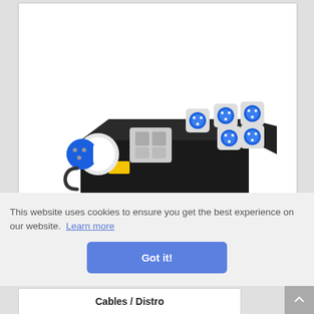[Figure (photo): Product photo of an electrical power distribution unit (distro box) — a black rectangular enclosure with a blue IEC 60309 male plug on the left side and multiple blue IEC 60309 female sockets on the top right, mounted on a black aluminium base.]
This website uses cookies to ensure you get the best experience on our website.  Learn more
Got it!
Cables / Distro